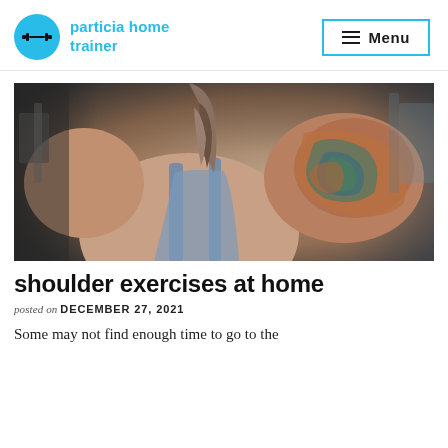particia home trainer — Menu
[Figure (photo): Back view of a muscular person with tattoos on their arm and shoulder, wearing a blue tank top, braided hair, in a gym setting.]
shoulder exercises at home
posted on DECEMBER 27, 2021
Some may not find enough time to go to the